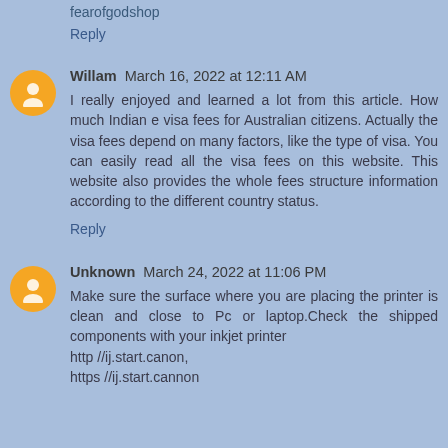fearofgodshop
Reply
Willam  March 16, 2022 at 12:11 AM
I really enjoyed and learned a lot from this article. How much Indian e visa fees for Australian citizens. Actually the visa fees depend on many factors, like the type of visa. You can easily read all the visa fees on this website. This website also provides the whole fees structure information according to the different country status.
Reply
Unknown  March 24, 2022 at 11:06 PM
Make sure the surface where you are placing the printer is clean and close to Pc or laptop.Check the shipped components with your inkjet printer
http //ij.start.canon,
https //ij.start.cannon